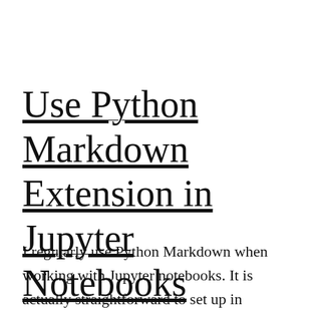Use Python Markdown Extension in Jupyter Notebooks
I regularly use Python Markdown when working with Jupyter notebooks. It is actually straightforward to set up in Jupyter, but I always forget the exact steps to be followed whenever I